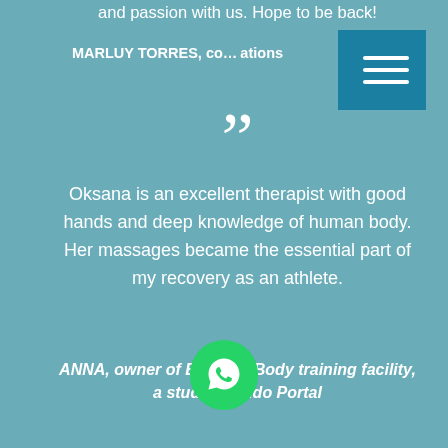and passion with us. Hope to be back!
MARLUY TORRES, co... ations
”
Oksana is an excellent therapist with good hands and deep knowledge of human body. Her massages became the essential part of my recovery as an athlete.
ANNA, owner of Bamboo Body training facility, a student of Ido Portal
”
Me han realizado bastantes masajes con diferentes técnicas: fisioterapia deportiva, thai, relajantes en spas pero ninguno como el que recibí de Oxana que consigue mezclar todo su conocimiento de forma espléndida. M... te un perfecto calentamiento co... elajar de tal forma la musculatura que, a pesar de trabajar en